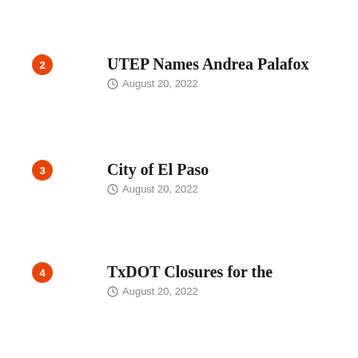2 – UTEP Names Andrea Palafox – August 20, 2022
3 – City of El Paso – August 20, 2022
4 – TxDOT Closures for the – August 20, 2022